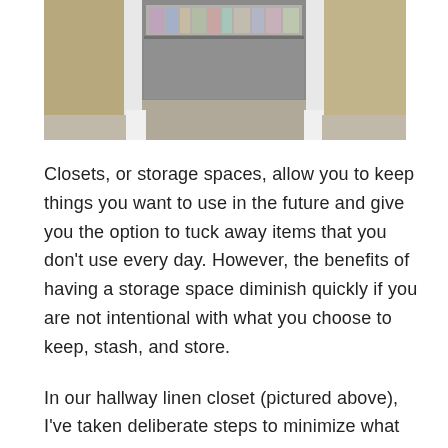[Figure (photo): A hallway linen closet with white trim door frame, showing carpet flooring and shelves with items inside, against a tan/beige wall.]
Closets, or storage spaces, allow you to keep things you want to use in the future and give you the option to tuck away items that you don't use every day. However, the benefits of having a storage space diminish quickly if you are not intentional with what you choose to keep, stash, and store.
In our hallway linen closet (pictured above), I've taken deliberate steps to minimize what we store. Recently, in only about 15 minutes, I